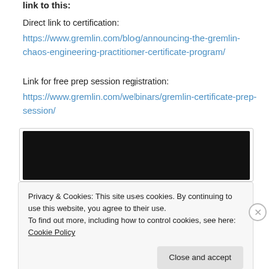Direct link to certification:
https://www.gremlin.com/blog/announcing-the-gremlin-chaos-engineering-practitioner-certificate-program/
Link for free prep session registration:
https://www.gremlin.com/webinars/gremlin-certificate-prep-session/
[Figure (screenshot): Embedded video player thumbnail with dark/black background inside a bordered container]
Privacy & Cookies: This site uses cookies. By continuing to use this website, you agree to their use.
To find out more, including how to control cookies, see here: Cookie Policy
Close and accept